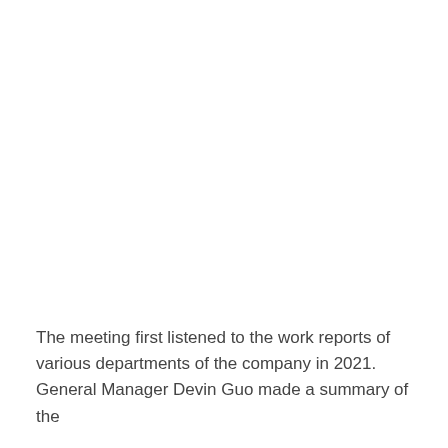The meeting first listened to the work reports of various departments of the company in 2021. General Manager Devin Guo made a summary of the